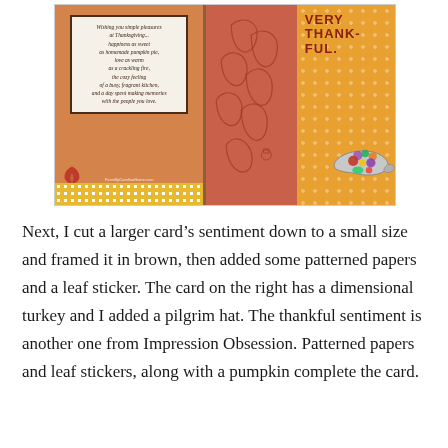[Figure (photo): Two handmade Thanksgiving greeting cards side by side. Left card has a sentiment reading 'Wishing you simple pleasures at Thanksgiving... happiness as sweet as homemade pumpkin pie, love as warm as a crackling fire, the cozy feeling of a busy, fragrant kitchen, and a day spent making memories with the people you love.' framed in brown, with patterned papers and a red leaf sticker. Right card features embossed autumn leaves on pink/salmon, with 'VERY THANKFUL' text on orange patterned background and a dimensional cornucopia with colorful fruits and vegetables. Watermark: FromMyCarolinaHome.com]
Next, I cut a larger card's sentiment down to a small size and framed it in brown, then added some patterned papers and a leaf sticker. The card on the right has a dimensional turkey and I added a pilgrim hat. The thankful sentiment is another one from Impression Obsession. Patterned papers and leaf stickers, along with a pumpkin complete the card.